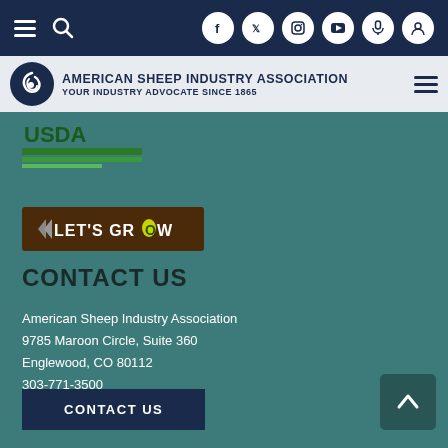[Figure (screenshot): Top navigation bar with hamburger menu, search icon, and social media icons (Facebook, Twitter, Instagram, YouTube, microphone, user profile) on dark navy background]
[Figure (logo): American Sheep Industry Association header banner with circular logo and text: AMERICAN SHEEP INDUSTRY ASSOCIATION, YOUR INDUSTRY ADVOCATE SINCE 1865]
[Figure (logo): USDA logo - partial view with green stripes]
[Figure (logo): LET'S GROW button/logo in dark brown background with yellow-green leaf accent]
CONTACT US
American Sheep Industry Association
9785 Maroon Circle, Suite 360
Englewood, CO 80112
303-771-3500
info@sheepusa.org
[Figure (other): CONTACT US button in dark navy blue]
[Figure (other): Back to top arrow button in dark teal]